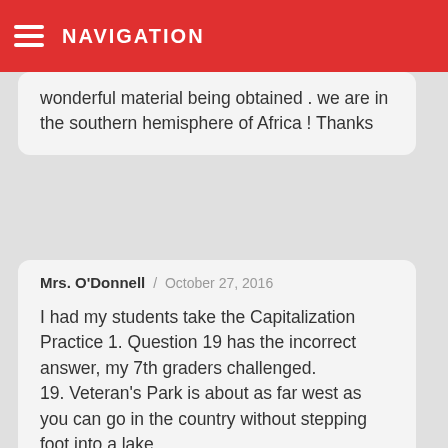NAVIGATION
wonderful material being obtained . we are in the southern hemisphere of Africa ! Thanks
Mrs. O'Donnell / October 27, 2016
I had my students take the Capitalization Practice 1. Question 19 has the incorrect answer, my 7th graders challenged.
19. Veteran's Park is about as far west as you can go in the country without stepping foot into a lake.